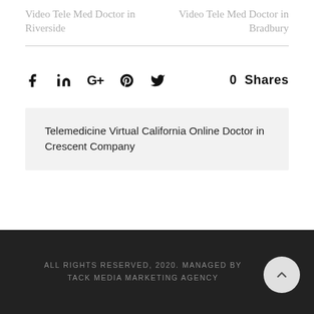Video Tele Med Doctor in Riverside
Video Tele Med Doctor in Bradbury
0  Shares
Telemedicine Virtual California Online Doctor in Crescent Company
ALL RIGHTS RESERVED, 2020. MANAGED BY TACK MEDIA MARKETING AGENCY